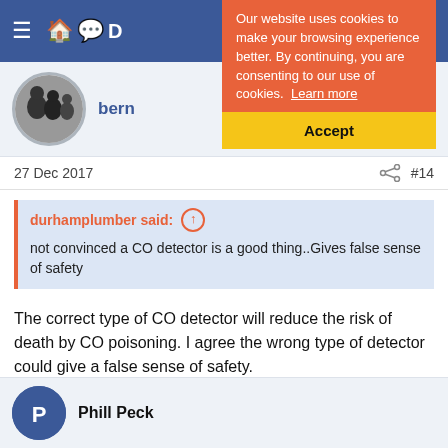[Figure (screenshot): Blue navigation bar with hamburger menu, home icon, chat icon, and partial username visible]
[Figure (infographic): Cookie consent banner overlay with orange background saying 'Our website uses cookies to make your browsing experience better. By continuing, you are consenting to our use of cookies. Learn more' and yellow Accept button]
[Figure (photo): User avatar circle with black and white photo of people]
bern
27 Dec 2017
#14
durhamplumber said: ↑
not convinced a CO detector is a good thing..Gives false sense of safety
The correct type of CO detector will reduce the risk of death by CO poisoning. I agree the wrong type of detector could give a false sense of safety.
The alarm by itself will not save a life, the life is saved by knowing what to do when the alarm activates.
Phill Peck